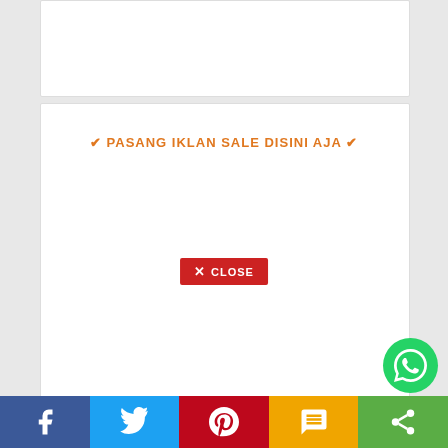[Figure (screenshot): White content box at top of page]
✔ PASANG IKLAN SALE DISINI AJA ✔
[Figure (screenshot): Red CLOSE button in center of white box]
[Figure (screenshot): Green WhatsApp circular button at bottom right]
[Figure (screenshot): Social share bar at bottom: Facebook, Twitter, Pinterest, SMS, Share]